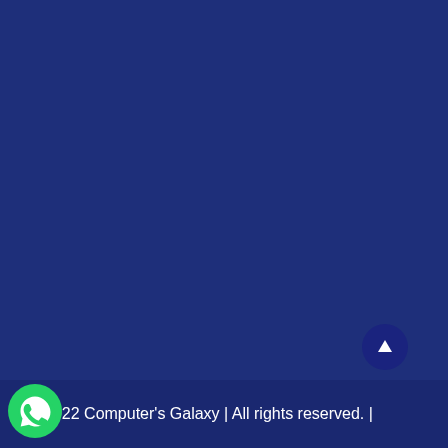[Figure (illustration): Dark navy blue background filling most of the page]
[Figure (logo): Green WhatsApp phone icon in a circular green speech bubble shape, positioned at bottom left]
[Figure (other): Dark navy circular scroll-to-top button with white upward arrow, positioned at bottom right above footer]
ht@ 2022 Computer's Galaxy | All rights reserved. |